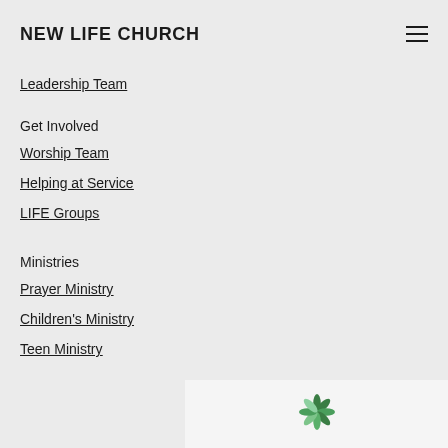NEW LIFE CHURCH
Leadership Team
Get Involved
Worship Team
Helping at Service
LIFE Groups
Ministries
Prayer Ministry
Children's Ministry
Teen Ministry
[Figure (logo): New Life Church green leaf/flower logo]